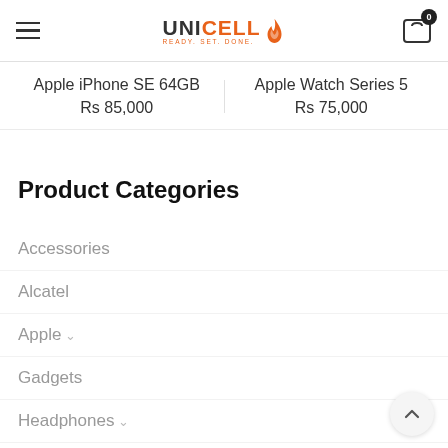UNICELL - Ready. Set. Done. [hamburger menu, cart icon with badge 0]
Apple iPhone SE 64GB
Rs 85,000
Apple Watch Series 5
Rs 75,000
Product Categories
Accessories
Alcatel
Apple ∨
Gadgets
Headphones ∨
Honor
Huawei
Infinix